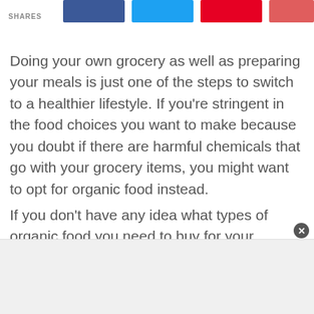SHARES
Doing your own grocery as well as preparing your meals is just one of the steps to switch to a healthier lifestyle. If you’re stringent in the food choices you want to make because you doubt if there are harmful chemicals that go with your grocery items, you might want to opt for organic food instead.
If you don’t have any idea what types of organic food you need to buy for your healthy lifestyle switch, this article comes up with a list for you.
[Figure (other): Advertisement banner area at the bottom of the page with a close (x) button]